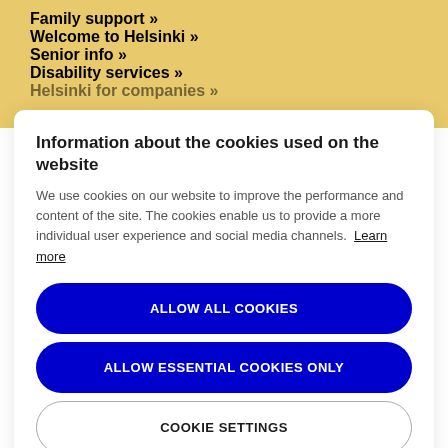Family support »
Welcome to Helsinki »
Senior info »
Disability services »
Helsinki for companies »
Information about the cookies used on the website
We use cookies on our website to improve the performance and content of the site. The cookies enable us to provide a more individual user experience and social media channels. Learn more
ALLOW ALL COOKIES
ALLOW ESSENTIAL COOKIES ONLY
COOKIE SETTINGS